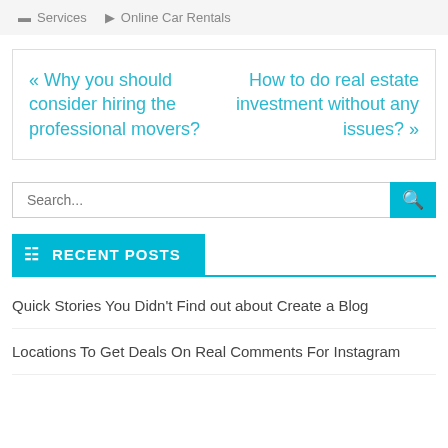Services   Online Car Rentals
« Why you should consider hiring the professional movers?   How to do real estate investment without any issues? »
Search...
RECENT POSTS
Quick Stories You Didn't Find out about Create a Blog
Locations To Get Deals On Real Comments For Instagram